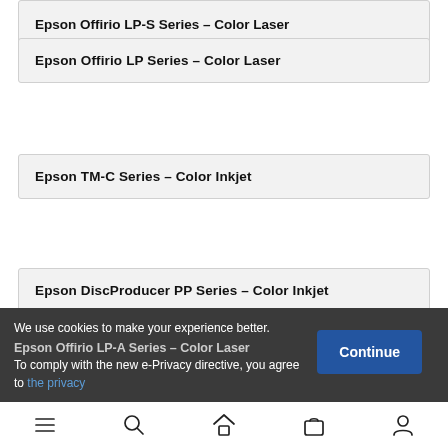Epson Offirio LP Series – Color Laser
Epson TM-C Series – Color Inkjet
Epson DiscProducer PP Series – Color Inkjet
Epson Offirio LP-A Series – Color Laser
We use cookies to make your experience better. To comply with the new e-Privacy directive, you agree to the privacy
Navigation bar with menu, search, home, cart, and account icons